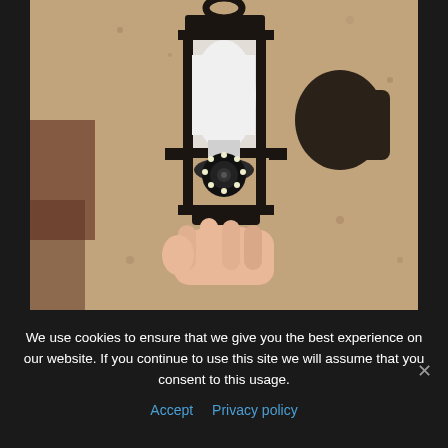[Figure (photo): A person's hand installing a smart security camera bulb (white bulb with camera lens and LED ring at the bottom) into a dark metal outdoor wall lantern fixture mounted on a textured stucco wall.]
We use cookies to ensure that we give you the best experience on our website. If you continue to use this site we will assume that you consent to this usage.
Accept  Privacy policy